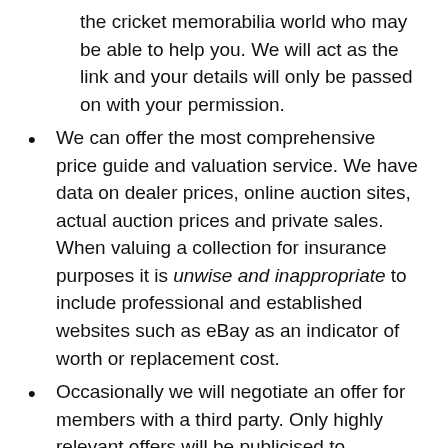the cricket memorabilia world who may be able to help you. We will act as the link and your details will only be passed on with your permission.
We can offer the most comprehensive price guide and valuation service. We have data on dealer prices, online auction sites, actual auction prices and private sales. When valuing a collection for insurance purposes it is unwise and inappropriate to include professional and established websites such as eBay as an indicator of worth or replacement cost.
Occasionally we will negotiate an offer for members with a third party. Only highly relevant offers will be publicised to members either through the website; via the newsletter, or direct via email or letter from the WCC and not third parties.
We will aim to respond to enquiries quickly,